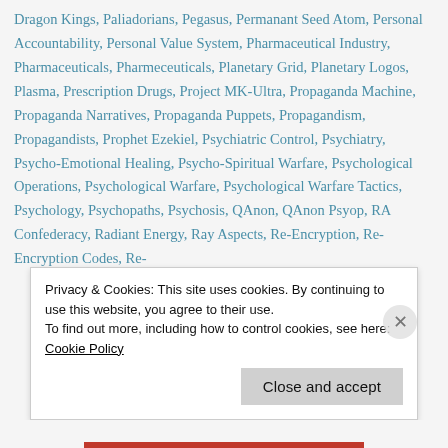Dragon Kings, Paliadorians, Pegasus, Permanant Seed Atom, Personal Accountability, Personal Value System, Pharmaceutical Industry, Pharmaceuticals, Pharmeceuticals, Planetary Grid, Planetary Logos, Plasma, Prescription Drugs, Project MK-Ultra, Propaganda Machine, Propaganda Narratives, Propaganda Puppets, Propagandism, Propagandists, Prophet Ezekiel, Psychiatric Control, Psychiatry, Psycho-Emotional Healing, Psycho-Spiritual Warfare, Psychological Operations, Psychological Warfare, Psychological Warfare Tactics, Psychology, Psychopaths, Psychosis, QAnon, QAnon Psyop, RA Confederacy, Radiant Energy, Ray Aspects, Re-Encryption, Re-Encryption Codes, Re-
Privacy & Cookies: This site uses cookies. By continuing to use this website, you agree to their use.
To find out more, including how to control cookies, see here: Cookie Policy